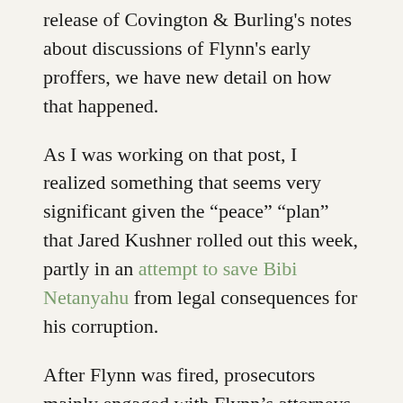release of Covington & Burling's notes about discussions of Flynn's early proffers, we have new detail on how that happened.
As I was working on that post, I realized something that seems very significant given the “peace” “plan” that Jared Kushner rolled out this week, partly in an attempt to save Bibi Netanyahu from legal consequences for his corruption.
After Flynn was fired, prosecutors mainly engaged with Flynn’s attorneys on his relationship with Turkey, which led to warnings to Flynn on August 30, 2017 that his former partner Bijan Kian might be indicted. While they were doing that, though, prosecutors secretly obtained Presidential Transition emails and devices (they obtained them